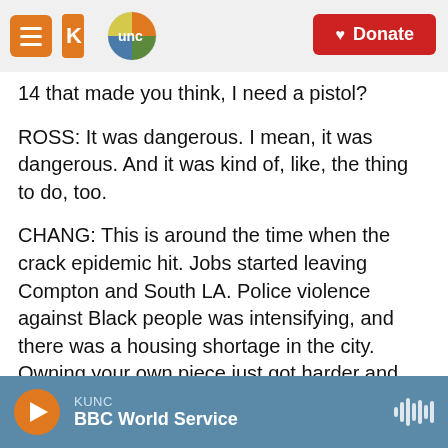KUNC | Donate
14 that made you think, I need a pistol?
ROSS: It was dangerous. I mean, it was dangerous. And it was kind of, like, the thing to do, too.
CHANG: This is around the time when the crack epidemic hit. Jobs started leaving Compton and South LA. Police violence against Black people was intensifying, and there was a housing shortage in the city. Owning your own piece just got harder and harder. So a lot of people in Compton began turning their gaze 50 miles east to a region called the Inland Empire. It was exploding with new
KUNC | BBC World Service